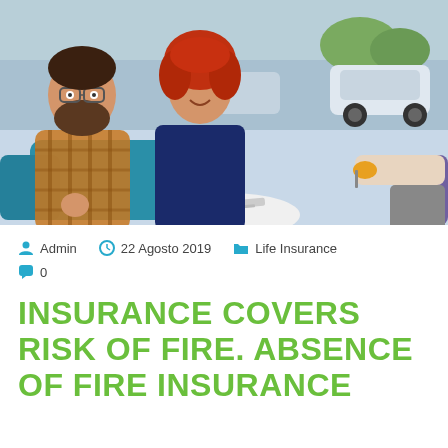[Figure (photo): A couple sitting on teal chairs in a car dealership, smiling. A man with a beard in a plaid shirt and a woman with red hair in a navy dress. A hand extends from the right offering car keys. Cars are visible in the background through glass windows.]
Admin   22 Agosto 2019   Life Insurance
0
INSURANCE COVERS RISK OF FIRE. ABSENCE OF FIRE INSURANCE